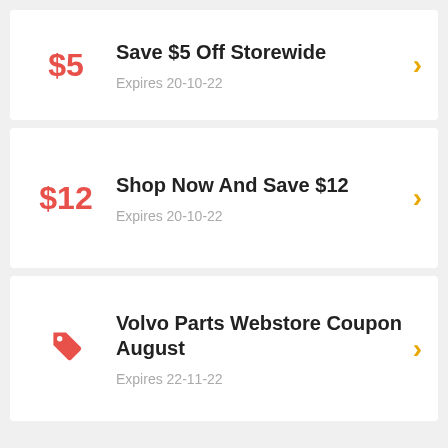$5
Save $5 Off Storewide
Expires 20-10-22
$12
Shop Now And Save $12
Expires 20-10-22
[Figure (illustration): Pink tag icon]
Volvo Parts Webstore Coupon August
Expires 22-11-22